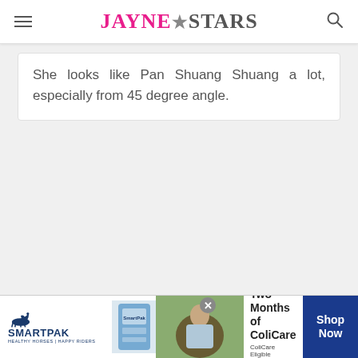JAYNE★STARS
She looks like Pan Shuang Shuang a lot, especially from 45 degree angle.
[Figure (photo): SmartPak advertisement banner showing product packaging, a woman with a horse, headline '50% Off Two Months of ColiCare', subtext 'ColiCare Eligible Supplements CODE: COLICARE10', and a blue 'Shop Now' button]